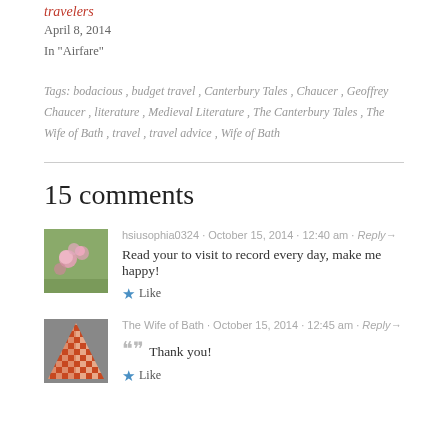travelers
April 8, 2014
In "Airfare"
Tags: bodacious, budget travel, Canterbury Tales, Chaucer, Geoffrey Chaucer, literature, Medieval Literature, The Canterbury Tales, The Wife of Bath, travel, travel advice, Wife of Bath
15 comments
[Figure (photo): Avatar of hsiusophia0324 showing pink flowers on green background]
hsiusophia0324 · October 15, 2014 · 12:40 am · Reply→
Read your to visit to record every day, make me happy!
★ Like
[Figure (photo): Avatar of The Wife of Bath showing a red and white checkered quilt pattern]
The Wife of Bath · October 15, 2014 · 12:45 am · Reply→
❞ Thank you!
★ Like